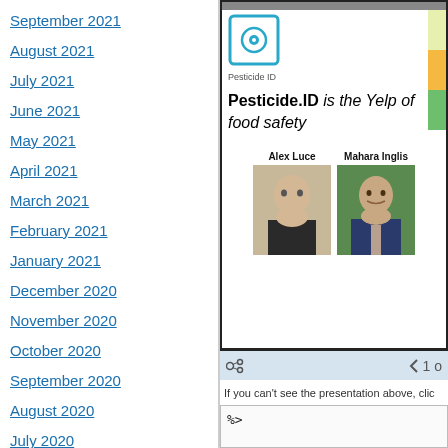September 2021
August 2021
July 2021
June 2021
May 2021
April 2021
March 2021
February 2021
January 2021
December 2020
November 2020
October 2020
September 2020
August 2020
July 2020
June 2020
May 2020
[Figure (screenshot): Screenshot of a slide presentation showing the Pesticide.ID logo and the text 'Pesticide.ID is the Yelp of food safety', with photos of Alex Luce and Mahara Inglis, and a slide navigation bar showing '1 o' (1 of...). Below the screenshot: 'If you can't see the presentation above, clic' and a code snippet showing '%>'.]